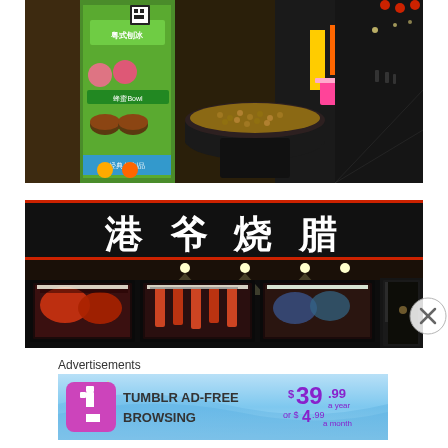[Figure (photo): Night market street scene in China with a roasting pot of nuts/seeds in the foreground, a colorful green and pink bubble tea/smoothie advertisement banner on the left, orange banners in background, and a long illuminated pedestrian street receding into the distance.]
[Figure (photo): Chinese BBQ restaurant storefront at night with large illuminated sign reading Chinese characters '港爷烧腊' (Gang Ye Shao La) in white on black background, and illuminated display cases showing roasted meats below.]
Advertisements
[Figure (advertisement): Tumblr AD-FREE BROWSING advertisement banner showing $39.99 a year or $4.99 a month pricing with Tumblr logo in pink/purple on blue gradient background.]